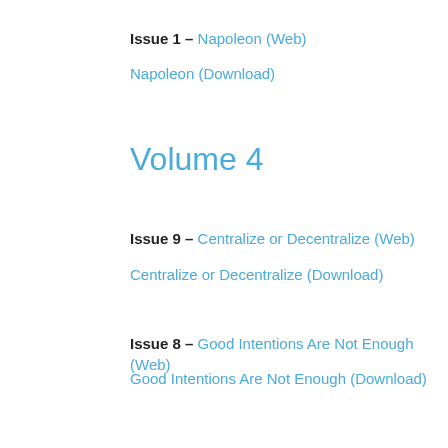Issue 1 – Napoleon (Web)
Napoleon (Download)
Volume 4
Issue 9 – Centralize or Decentralize (Web)
Centralize or Decentralize (Download)
Issue 8 – Good Intentions Are Not Enough (Web)
Good Intentions Are Not Enough (Download)